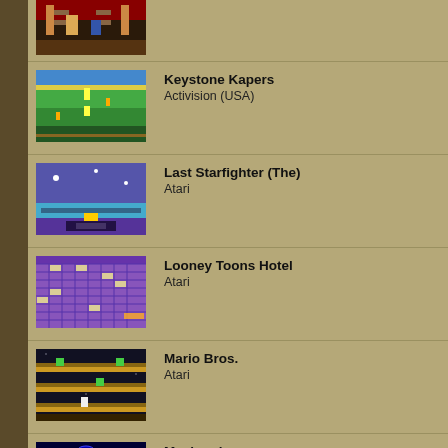[Figure (screenshot): Partial game screenshot clipped at top]
Keystone Kapers
Activision (USA)
Last Starfighter (The)
Atari
Looney Toons Hotel
Atari
Mario Bros.
Atari
Meebzork
Atari
Megamania